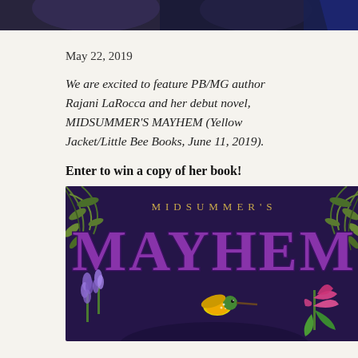[Figure (photo): Top portion of a photo showing people, partially cropped, dark background with blue tones]
May 22, 2019
We are excited to feature PB/MG author Rajani LaRocca and her debut novel, MIDSUMMER'S MAYHEM (Yellow Jacket/Little Bee Books, June 11, 2019).
Enter to win a copy of her book!
[Figure (illustration): Book cover of MIDSUMMER'S MAYHEM — dark purple background with large stylized text 'MIDSUMMER'S MAYHEM', decorated with illustrated flowers, leaves, and a hummingbird]